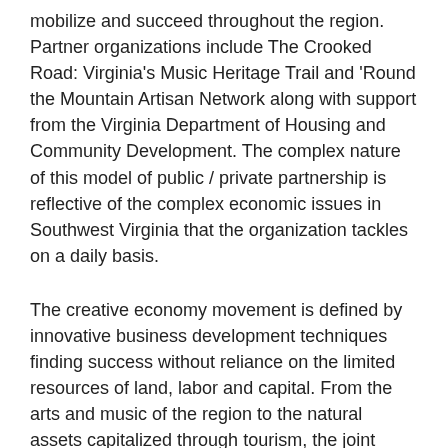mobilize and succeed throughout the region. Partner organizations include The Crooked Road: Virginia's Music Heritage Trail and 'Round the Mountain Artisan Network along with support from the Virginia Department of Housing and Community Development. The complex nature of this model of public / private partnership is reflective of the complex economic issues in Southwest Virginia that the organization tackles on a daily basis.
The creative economy movement is defined by innovative business development techniques finding success without reliance on the limited resources of land, labor and capital. From the arts and music of the region to the natural assets capitalized through tourism, the joint work of the Foundation and the non-profit is revolutionizing the rural economic development system of Southwest Virginia and providing thousands of new jobs through small business to the people of this region.